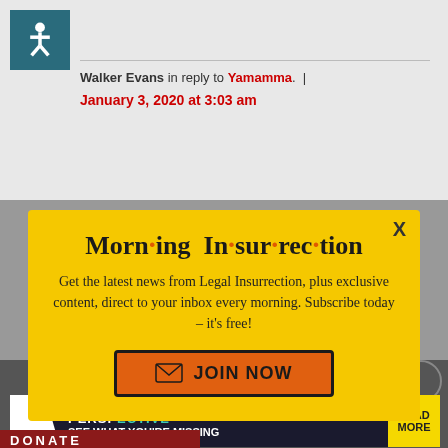Walker Evans in reply to Yamamma. | January 3, 2020 at 3:03 am
[Figure (infographic): Morning Insurrection newsletter signup modal popup with yellow background. Title reads 'Morn·ing In·sur·rec·tion' with orange dots. Body text: 'Get the latest news from Legal Insurrection, plus exclusive content, direct to your inbox every morning. Subscribe today – it's free!' with an orange JOIN NOW button.]
[Figure (infographic): Bottom advertisement banner for 'The Perspective' with dark background, teal and yellow accents, text 'SEE WHAT YOU'RE MISSING' and 'READ MORE' button in yellow.]